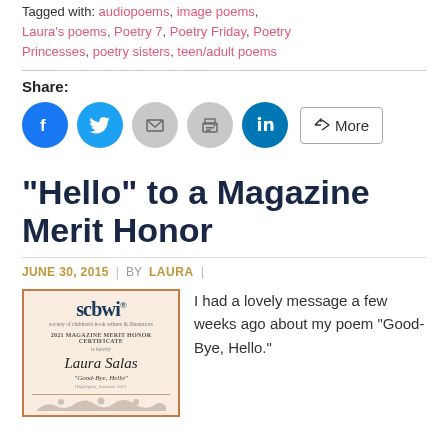Tagged with: audiopoems, image poems, Laura's poems, Poetry 7, Poetry Friday, Poetry Princesses, poetry sisters, teen/adult poems
Share:
[Figure (infographic): Share buttons row: Facebook (blue circle), Twitter (blue circle), Email (gray circle), Print (gray circle), LinkedIn (dark blue circle), More button (outlined)]
“Hello” to a Magazine Merit Honor
JUNE 30, 2015  |  BY LAURA  |
[Figure (photo): SCBWI 2021 Magazine Merit Honor Certificate awarded to Laura Salas for 'Good-Bye, Hello']
I had a lovely message a few weeks ago about my poem “Good-Bye, Hello.”